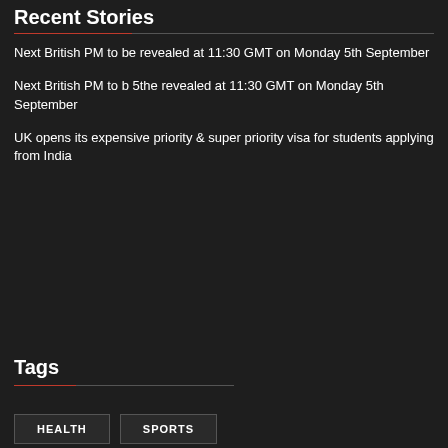Recent Stories
Next British PM to be revealed at 11:30 GMT on Monday 5th September
Next British PM to b 5the revealed at 11:30 GMT on Monday 5th September
UK opens its expensive priority & super priority visa for students applying from India
Tags
HEALTH
SPORTS